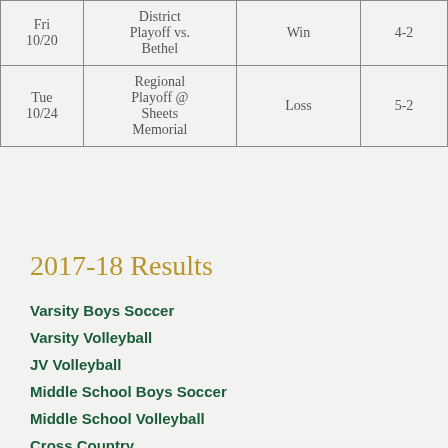| Date | Game | Result | Score |
| --- | --- | --- | --- |
| Fri 10/20 | District Playoff vs. Bethel | Win | 4-2 |
| Tue 10/24 | Regional Playoff @ Sheets Memorial | Loss | 5-2 |
2017-18 Results
Varsity Boys Soccer
Varsity Volleyball
JV Volleyball
Middle School Boys Soccer
Middle School Volleyball
Cross Country
Varsity Boys Basketball
Varsity Girls Basketball